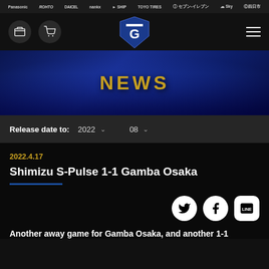Panasonic ROHTO DAICEL nankx SHIP TOYO TIRES セブン‐イレブン Sky 四日市
[Figure (screenshot): Gamba Osaka website navigation bar with ticket icon, cart icon, Gamba Osaka shield logo, and hamburger menu]
[Figure (photo): NEWS hero banner showing Gamba Osaka players huddled in blue kit on stadium pitch with crowd background, with 'NEWS' text in gold]
Release date to: 2022 ∨  08 ∨
2022.4.17
Shimizu S-Pulse 1-1 Gamba Osaka
[Figure (screenshot): Social media share icons: Twitter (bird), Facebook (f), LINE (chat bubble with LINE text)]
Another away game for Gamba Osaka, and another 1-1